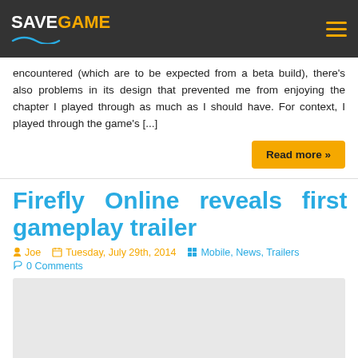SaveGame
encountered (which are to be expected from a beta build), there's also problems in its design that prevented me from enjoying the chapter I played through as much as I should have. For context, I played through the game's [...]
Read more »
Firefly Online reveals first gameplay trailer
Joe  Tuesday, July 29th, 2014  Mobile, News, Trailers  0 Comments
[Figure (screenshot): Thumbnail/preview image placeholder for the Firefly Online article]